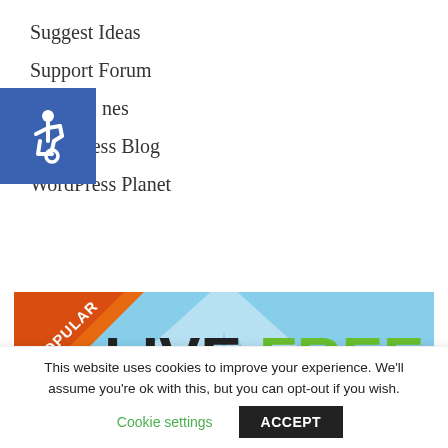Suggest Ideas
Support Forum
nes
WordPress Blog
WordPress Planet
[Figure (illustration): Advertisement banner showing 'LIVE FREE' text with a cartoon face and 'POPULAR' ribbon badge in orange/red, with 'DIE' partially visible at the bottom]
This website uses cookies to improve your experience. We'll assume you're ok with this, but you can opt-out if you wish.
Cookie settings | ACCEPT